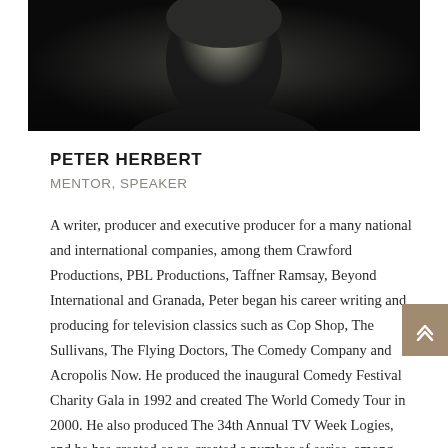[Figure (photo): Black and white portrait photo of Peter Herbert, cropped to show upper body/face against dark background]
PETER HERBERT
MENTOR, SPEAKER
A writer, producer and executive producer for a many national and international companies, among them Crawford Productions, PBL Productions, Taffner Ramsay, Beyond International and Granada, Peter began his career writing and producing for television classics such as Cop Shop, The Sullivans, The Flying Doctors, The Comedy Company and Acropolis Now. He produced the inaugural Comedy Festival Charity Gala in 1992 and created The World Comedy Tour in 2000. He also produced The 34th Annual TV Week Logies, and he has created or co-created a number of series, among them Skirts, The Comedy Sale! The Agency, Parties, FAQ, and The Big Wig for Sky1 in the UK. Working with Caroline Aherne of The Royle Family